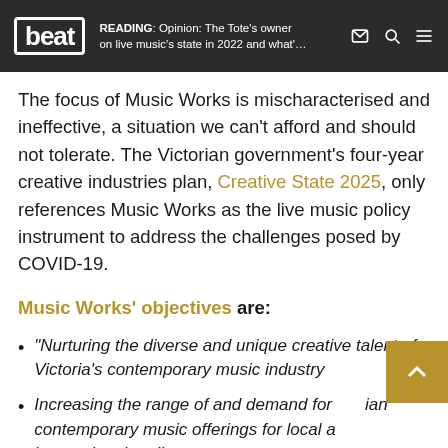beat | READING: Opinion: The Tote's owner on live music's state in 2022 and what'...
The focus of Music Works is mischaracterised and ineffective, a situation we can't afford and should not tolerate. The Victorian government's four-year creative industries plan, Creative State 2025, only references Music Works as the live music policy instrument to address the challenges posed by COVID-19.
Music Works' objectives are:
“Nurturing the diverse and unique creative talent of Victoria’s contemporary music industry
Increasing the range of and demand for Victorian contemporary music offerings for local and international audiences
Providing opportunities for contemporary local...